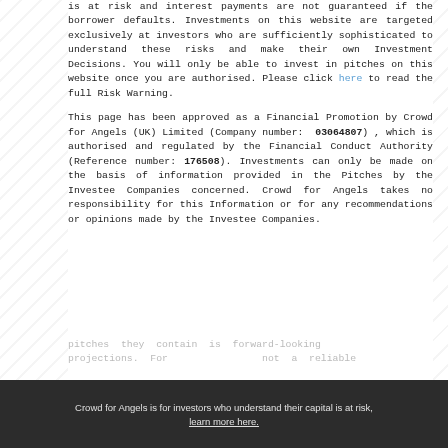is at risk and interest payments are not guaranteed if the borrower defaults. Investments on this website are targeted exclusively at investors who are sufficiently sophisticated to understand these risks and make their own Investment Decisions. You will only be able to invest in pitches on this website once you are authorised. Please click here to read the full Risk Warning.
This page has been approved as a Financial Promotion by Crowd for Angels (UK) Limited (Company number: 03064807), which is authorised and regulated by the Financial Conduct Authority (Reference number: 176508). Investments can only be made on the basis of information provided in the Pitches by the Investee Companies concerned. Crowd for Angels takes no responsibility for this Information or for any recommendations or opinions made by the Investee Companies.
pitches they contain is forward-looking projections. For...
Crowd for Angels is for investors who understand their capital is at risk, learn more here.